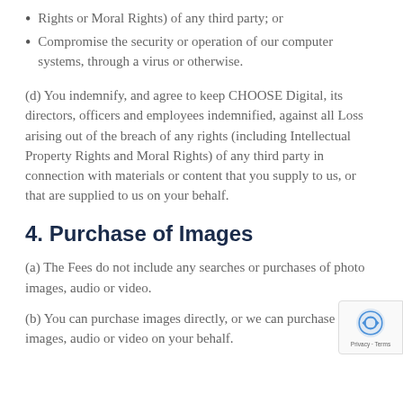Rights or Moral Rights) of any third party; or
Compromise the security or operation of our computer systems, through a virus or otherwise.
(d) You indemnify, and agree to keep CHOOSE Digital, its directors, officers and employees indemnified, against all Loss arising out of the breach of any rights (including Intellectual Property Rights and Moral Rights) of any third party in connection with materials or content that you supply to us, or that are supplied to us on your behalf.
4. Purchase of Images
(a) The Fees do not include any searches or purchases of photo images, audio or video.
(b) You can purchase images directly, or we can purchase photo images, audio or video on your behalf.